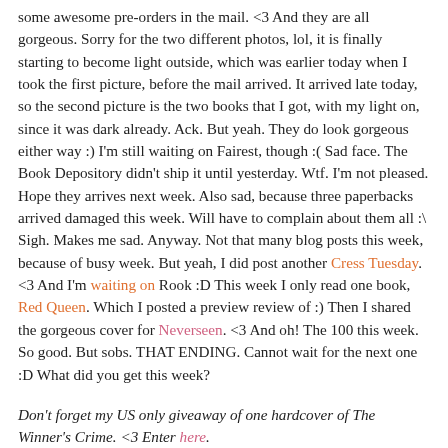some awesome pre-orders in the mail. <3 And they are all gorgeous. Sorry for the two different photos, lol, it is finally starting to become light outside, which was earlier today when I took the first picture, before the mail arrived. It arrived late today, so the second picture is the two books that I got, with my light on, since it was dark already. Ack. But yeah. They do look gorgeous either way :) I'm still waiting on Fairest, though :( Sad face. The Book Depository didn't ship it until yesterday. Wtf. I'm not pleased. Hope they arrives next week. Also sad, because three paperbacks arrived damaged this week. Will have to complain about them all :\ Sigh. Makes me sad. Anyway. Not that many blog posts this week, because of busy week. But yeah, I did post another Cress Tuesday. <3 And I'm waiting on Rook :D This week I only read one book, Red Queen. Which I posted a preview review of :) Then I shared the gorgeous cover for Neverseen. <3 And oh! The 100 this week. So good. But sobs. THAT ENDING. Cannot wait for the next one :D What did you get this week?
Don't forget my US only giveaway of one hardcover of The Winner's Crime. <3 Enter here.